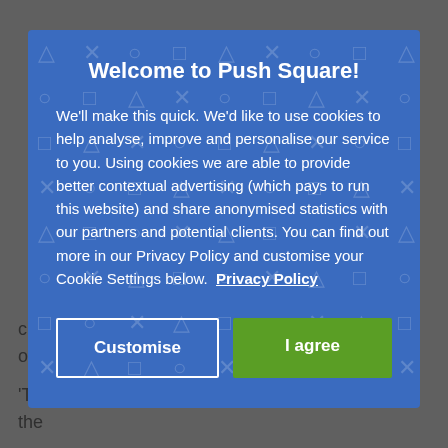character, Big Boss, or Snake, as he's sometimes otherwise known.
'To his credit, Kiefer Suthe... knocked it out of the
Welcome to Push Square!
We'll make this quick. We'd like to use cookies to help analyse, improve and personalise our service to you. Using cookies we are able to provide better contextual advertising (which pays to run this website) and share anonymised statistics with our partners and potential clients. You can find out more in our Privacy Policy and customise your Cookie Settings below.  Privacy Policy
Customise
I agree